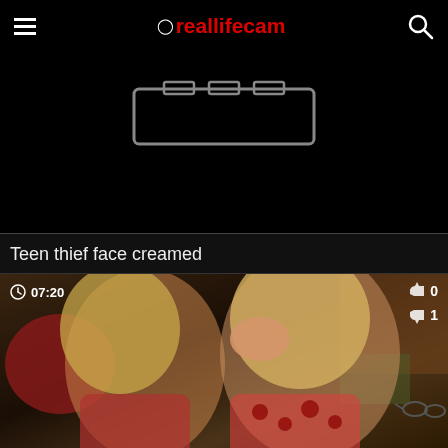reallifecam
[Figure (screenshot): Black video placeholder with gray film reel / camera icon at top center]
Teen thief face creamed
[Figure (screenshot): Video thumbnail showing two blonde women. Duration badge: 07:20. Likes: 0, Dislikes: 1.]